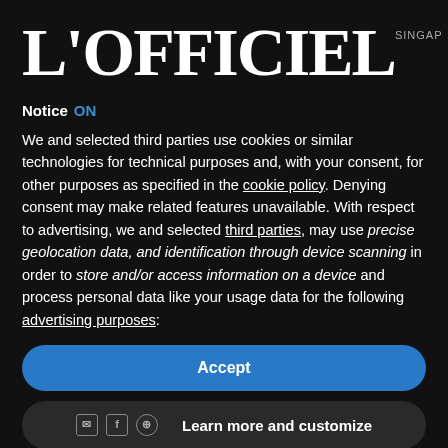[Figure (logo): L'OFFICIEL logo in large serif white text on black background]
Notice ON
We and selected third parties use cookies or similar technologies for technical purposes and, with your consent, for other purposes as specified in the cookie policy. Denying consent may make related features unavailable. With respect to advertising, we and selected third parties, may use precise geolocation data, and identification through device scanning in order to store and/or access information on a device and process personal data like your usage data for the following advertising purposes:
Accept
Learn more and customize